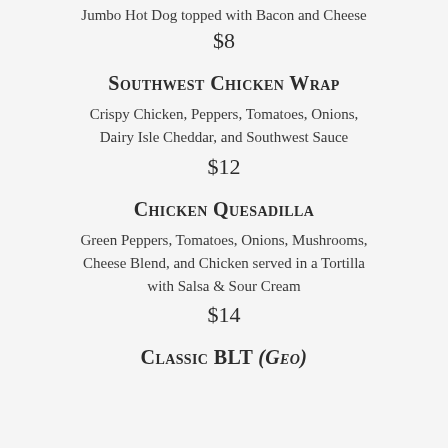Jumbo Hot Dog topped with Bacon and Cheese
$8
Southwest Chicken Wrap
Crispy Chicken, Peppers, Tomatoes, Onions, Dairy Isle Cheddar, and Southwest Sauce
$12
Chicken Quesadilla
Green Peppers, Tomatoes, Onions, Mushrooms, Cheese Blend, and Chicken served in a Tortilla with Salsa & Sour Cream
$14
Classic BLT (GEO)